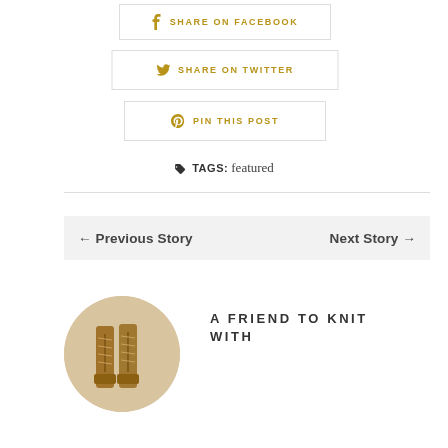SHARE ON FACEBOOK
SHARE ON TWITTER
PIN THIS POST
TAGS: featured
← Previous Story    Next Story →
[Figure (photo): Circular thumbnail of tall brown lace-up boots standing on a light floor]
A FRIEND TO KNIT WITH